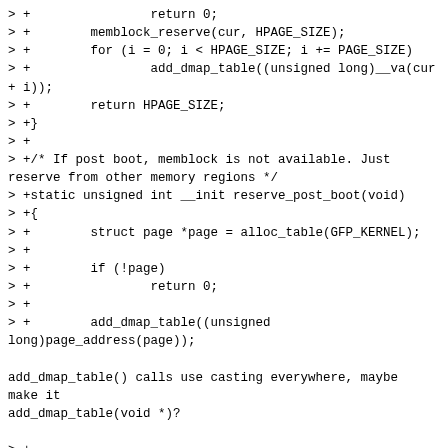> +                return 0;
> +        memblock_reserve(cur, HPAGE_SIZE);
> +        for (i = 0; i < HPAGE_SIZE; i += PAGE_SIZE)
> +                add_dmap_table((unsigned long)__va(cur
+ i));
> +        return HPAGE_SIZE;
> +}
> +
> +/* If post boot, memblock is not available. Just reserve from other memory regions */
> +static unsigned int __init reserve_post_boot(void)
> +{
> +        struct page *page = alloc_table(GFP_KERNEL);
> +
> +        if (!page)
> +                return 0;
> +
> +        add_dmap_table((unsigned
long)page_address(page));

add_dmap_table() calls use casting everywhere, maybe make it
add_dmap_table(void *)?

> +
> +        return PAGE_SIZE;
> +}
> +
> +static void __init reserve_page_tables(u64 start,
u64_end)